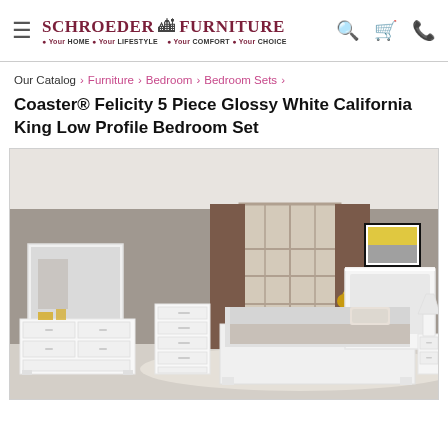Schroeder Furniture — Your HOME • Your LIFESTYLE • Your COMFORT • Your CHOICE
Our Catalog › Furniture › Bedroom › Bedroom Sets ›
Coaster® Felicity 5 Piece Glossy White California King Low Profile Bedroom Set
[Figure (photo): Photo of Coaster Felicity 5 piece glossy white California king bedroom set in a staged room, showing white dresser with mirror, white chest, white bed with upholstered headboard, and white nightstand on a light area rug with gray walls and window in background.]